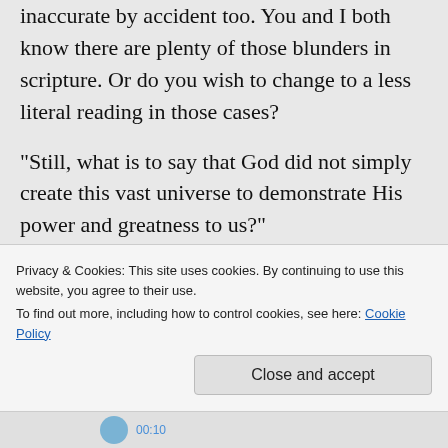inaccurate by accident too. You and I both know there are plenty of those blunders in scripture. Or do you wish to change to a less literal reading in those cases?
“Still, what is to say that God did not simply create this vast universe to demonstrate His power and greatness to us?”
The Bible (Romans 8:18-22). You do read the Bible, don’t you?
Privacy & Cookies: This site uses cookies. By continuing to use this website, you agree to their use.
To find out more, including how to control cookies, see here: Cookie Policy